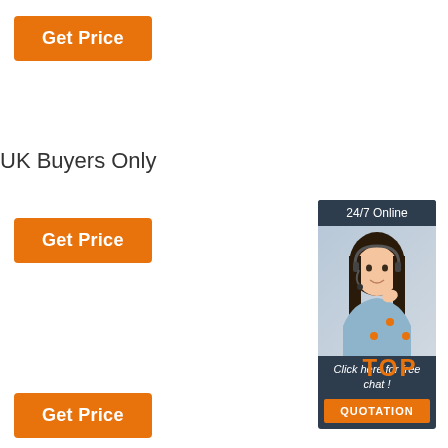[Figure (other): Orange 'Get Price' button at top left]
UK Buyers Only
[Figure (other): Orange 'Get Price' button in middle left]
[Figure (other): 24/7 online chat widget with woman customer service agent, 'Click here for free chat!' text, and orange QUOTATION button]
[Figure (other): Orange 'TOP' icon with dots forming triangle shape at bottom right]
[Figure (other): Orange 'Get Price' button at bottom left]